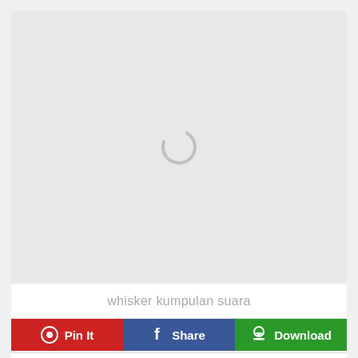[Figure (screenshot): A loading spinner (circular arc in grey) centered on a light grey background, indicating content is loading.]
whisker kumpulan suara
Pin It
Share
Download